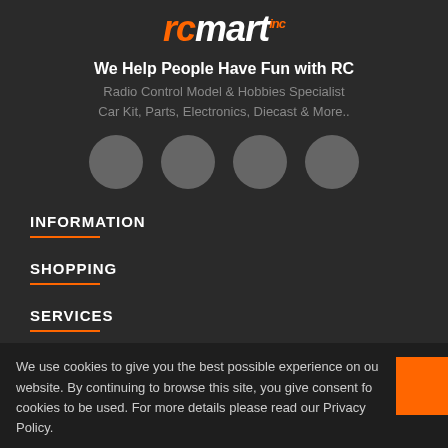[Figure (logo): RCMart logo in orange italic bold text]
We Help People Have Fun with RC
Radio Control Model & Hobbies Specialist
Car Kit, Parts, Electronics, Diecast & More..
[Figure (illustration): Four gray social media icon circles in a row]
INFORMATION
SHOPPING
SERVICES
ACCOUNT
We use cookies to give you the best possible experience on our website. By continuing to browse this site, you give consent for cookies to be used. For more details please read our Privacy Policy.